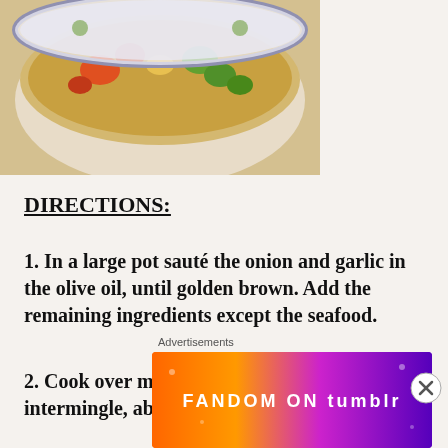[Figure (photo): A bowl of vegetable and seafood soup with colorful vegetables including carrots and green peppers in a white bowl with floral pattern]
DIRECTIONS:
1. In a large pot sauté the onion and garlic in the olive oil, until golden brown. Add the remaining ingredients except the seafood.
2. Cook over medium-low heat until flavors intermingle, about 30 minutes. Add the
[Figure (other): Advertisement banner: FANDOM ON tumblr with colorful gradient background]
Advertisements